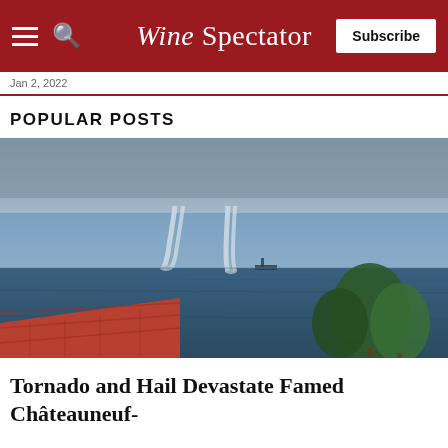Wine Spectator | Subscribe
Jan 2, 2022
POPULAR POSTS
[Figure (photo): Waterspout tornadoes over a blue sea with a red-tiled roof and trees in the foreground]
Tornado and Hail Devastate Famed Châteauneuf-